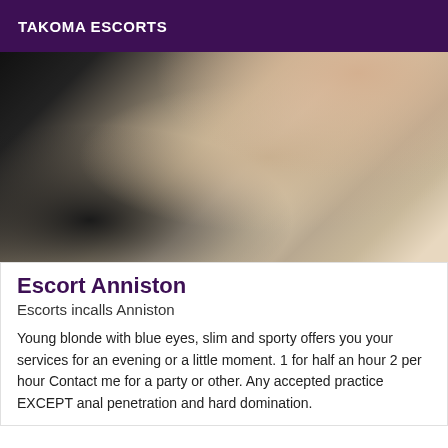TAKOMA ESCORTS
[Figure (photo): Close-up photo of light fabric or clothing with dark background on left side]
Escort Anniston
Escorts incalls Anniston
Young blonde with blue eyes, slim and sporty offers you your services for an evening or a little moment. 1 for half an hour 2 per hour Contact me for a party or other. Any accepted practice EXCEPT anal penetration and hard domination.